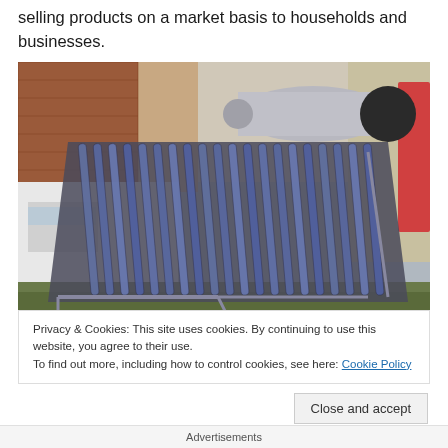selling products on a market basis to households and businesses.
[Figure (photo): A solar thermal collector with evacuated tubes mounted on a metal frame outdoors, with a cylindrical hot water storage tank on top. A white van and brick building are visible in the background.]
Privacy & Cookies: This site uses cookies. By continuing to use this website, you agree to their use.
To find out more, including how to control cookies, see here: Cookie Policy
Advertisements